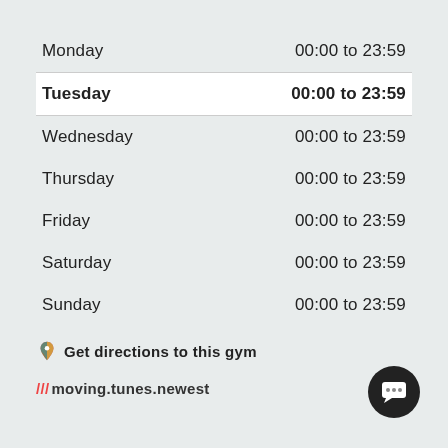| Day | Hours |
| --- | --- |
| Monday | 00:00 to 23:59 |
| Tuesday | 00:00 to 23:59 |
| Wednesday | 00:00 to 23:59 |
| Thursday | 00:00 to 23:59 |
| Friday | 00:00 to 23:59 |
| Saturday | 00:00 to 23:59 |
| Sunday | 00:00 to 23:59 |
Get directions to this gym
/// moving.tunes.newest